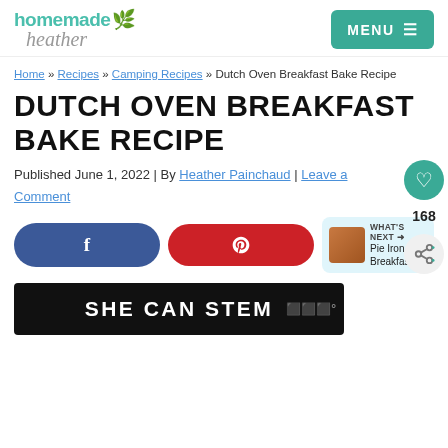homemade heather — MENU
Home » Recipes » Camping Recipes » Dutch Oven Breakfast Bake Recipe
DUTCH OVEN BREAKFAST BAKE RECIPE
Published June 1, 2022 | By Heather Painchaud | Leave a Comment
[Figure (screenshot): Social share buttons: Facebook (f), Pinterest (pin icon), and What's Next carousel showing Pie Iron Breakfast...]
[Figure (screenshot): Ad banner with dark background showing text SHE CAN STEM]